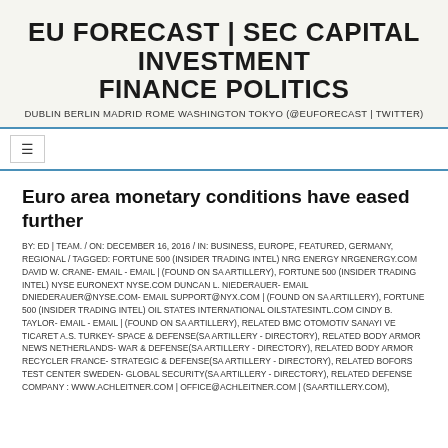EU FORECAST | SEC CAPITAL INVESTMENT FINANCE POLITICS
DUBLIN BERLIN MADRID ROME WASHINGTON TOKYO (@EUFORECAST | TWITTER)
Euro area monetary conditions have eased further
BY: ED | TEAM. / ON: DECEMBER 16, 2016 / IN: BUSINESS, EUROPE, FEATURED, GERMANY, REGIONAL / TAGGED: FORTUNE 500 (INSIDER TRADING INTEL) NRG ENERGY NRGENERGY.COM DAVID W. CRANE- EMAIL - EMAIL | (FOUND ON SA ARTILLERY), FORTUNE 500 (INSIDER TRADING INTEL) NYSE EURONEXT NYSE.COM DUNCAN L. NIEDERAUER- EMAIL DNIEDERAUER@NYSE.COM- EMAIL SUPPORT@NYX.COM | (FOUND ON SA ARTILLERY), FORTUNE 500 (INSIDER TRADING INTEL) OIL STATES INTERNATIONAL OILSTATESINTL.COM CINDY B. TAYLOR- EMAIL - EMAIL | (FOUND ON SA ARTILLERY), RELATED BMC OTOMOTIV SANAYI VE TICARET A.S. TURKEY- SPACE & DEFENSE(SA ARTILLERY - DIRECTORY), RELATED BODY ARMOR NEWS NETHERLANDS- WAR & DEFENSE(SA ARTILLERY - DIRECTORY), RELATED BODY ARMOR RECYCLER FRANCE- STRATEGIC & DEFENSE(SA ARTILLERY - DIRECTORY), RELATED BOFORS TEST CENTER SWEDEN- GLOBAL SECURITY(SA ARTILLERY - DIRECTORY), RELATED DEFENSE COMPANY : WWW.ACHLEITNER.COM | OFFICE@ACHLEITNER.COM | (SAARTILLERY.COM),